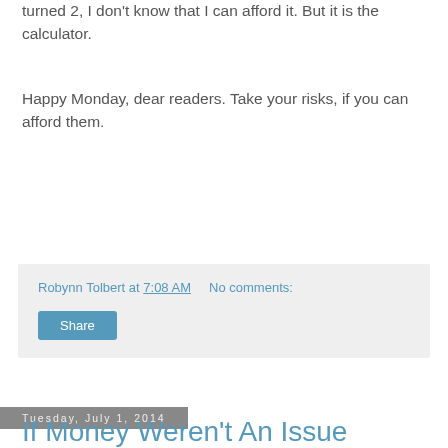turned 2, I don't know that I can afford it. But it is the calculator.
Happy Monday, dear readers. Take your risks, if you can afford them.
Robynn Tolbert at 7:08 AM   No comments:
Share
Tuesday, July 1, 2014
If Money Weren't An Issue
Would my life be different if money weren't an issue? I wouldn't have to be as rich as the Queen or Col. Sanders, but, you know, wealthy enough to not have that immediate dollar-shaped "stop" sign when an idea pops into my head.
1) I'd still work. I enjoy work, and I'd enjoy it a lot if I didn't have to think about how cheap my special brand of